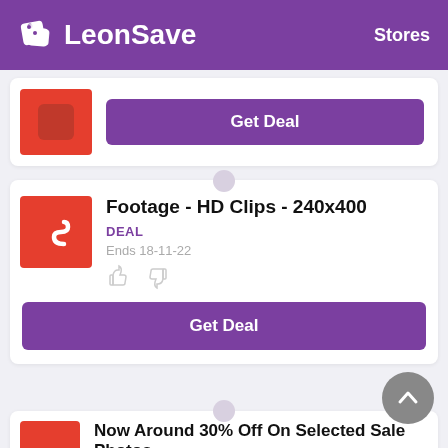LeonSave — Stores
[Figure (screenshot): Partial deal card with red brand logo and Get Deal purple button]
Footage - HD Clips - 240x400
DEAL
Ends 18-11-22
[Figure (other): Thumbs up and thumbs down icons]
Get Deal
Now Around 30% Off On Selected Sale Photos
DEAL